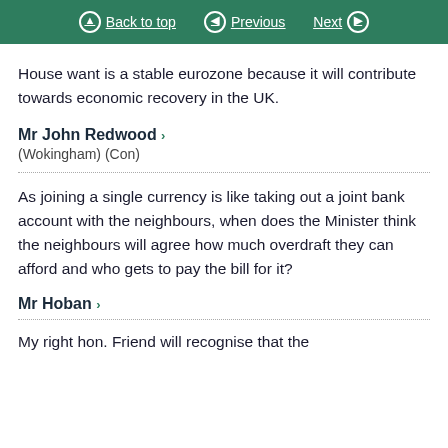Back to top   Previous   Next
House want is a stable eurozone because it will contribute towards economic recovery in the UK.
Mr John Redwood >
(Wokingham) (Con)
As joining a single currency is like taking out a joint bank account with the neighbours, when does the Minister think the neighbours will agree how much overdraft they can afford and who gets to pay the bill for it?
Mr Hoban >
My right hon. Friend will recognise that the